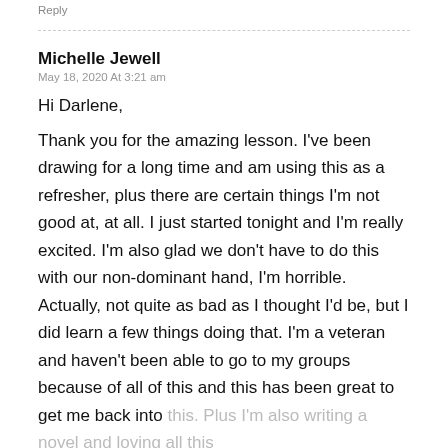Reply
Michelle Jewell
May 18, 2020 At 3:21 am
Hi Darlene,
Thank you for the amazing lesson. I've been drawing for a long time and am using this as a refresher, plus there are certain things I'm not good at, at all. I just started tonight and I'm really excited. I'm also glad we don't have to do this with our non-dominant hand, I'm horrible. Actually, not quite as bad as I thought I'd be, but I did learn a few things doing that. I'm a veteran and haven't been able to go to my groups because of all of this and this has been great to get me back into this. Plus I'm also writing a novel and loving all this